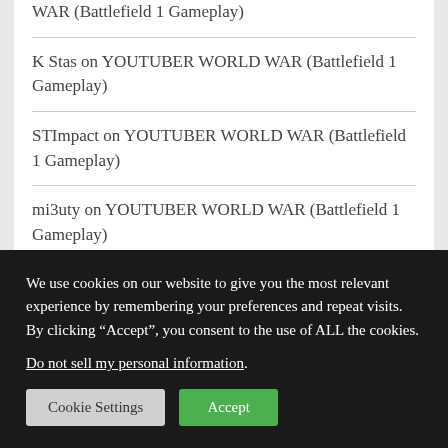WAR (Battlefield 1 Gameplay)
K Stas on YOUTUBER WORLD WAR (Battlefield 1 Gameplay)
STImpact on YOUTUBER WORLD WAR (Battlefield 1 Gameplay)
mi3uty on YOUTUBER WORLD WAR (Battlefield 1 Gameplay)
We use cookies on our website to give you the most relevant experience by remembering your preferences and repeat visits. By clicking “Accept”, you consent to the use of ALL the cookies.
Do not sell my personal information.